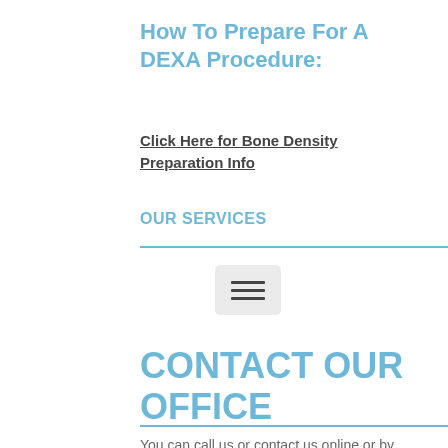How To Prepare For A DEXA Procedure:
Click Here for Bone Density Preparation Info
OUR SERVICES
[Figure (other): Hamburger menu icon with three horizontal lines on a light grey rounded rectangle background]
CONTACT OUR OFFICE
You can call us or contact us online or by calling the phone number below.